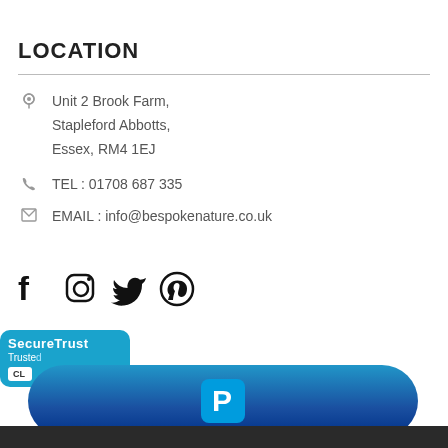LOCATION
Unit 2 Brook Farm,
Stapleford Abbotts,
Essex, RM4 1EJ
TEL : 01708 687 335
EMAIL : info@bespokenature.co.uk
[Figure (other): Social media icons: Facebook, Instagram, Twitter, Pinterest]
[Figure (logo): SecureTrust Trusted badge with CL button]
[Figure (logo): PayPal payment button (blue rounded rectangle with PayPal P logo)]